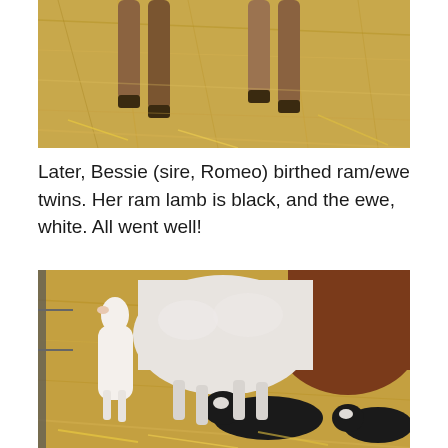[Figure (photo): Close-up photograph of animal legs (sheep/goat) standing on hay/straw.]
Later, Bessie (sire, Romeo) birthed ram/ewe twins. Her ram lamb is black, and the ewe, white. All went well!
[Figure (photo): Photograph of a white ewe with two newborn lambs — one white and one black-and-white — on straw bedding in a barn pen.]